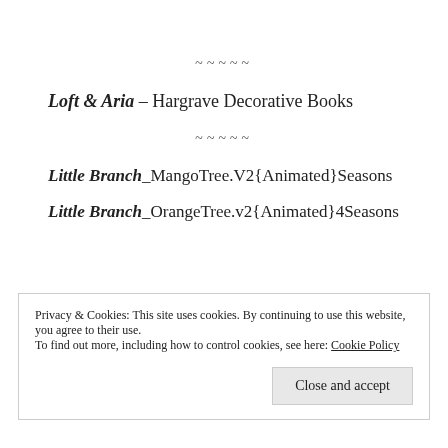~~~~~
Loft & Aria – Hargrave Decorative Books
~~~~~
Little Branch_MangoTree.V2{Animated}Seasons
Little Branch_OrangeTree.v2{Animated}4Seasons
Privacy & Cookies: This site uses cookies. By continuing to use this website, you agree to their use. To find out more, including how to control cookies, see here: Cookie Policy
Close and accept